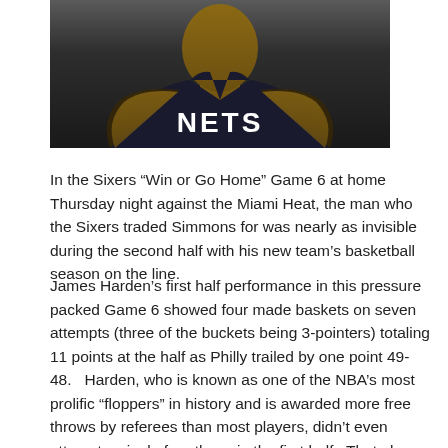[Figure (photo): A basketball player wearing a dark Nets jersey, upper body visible, dark background.]
In the Sixers “Win or Go Home” Game 6 at home Thursday night against the Miami Heat, the man who the Sixers traded Simmons for was nearly as invisible during the second half with his new team’s basketball season on the line.
James Harden’s first half performance in this pressure packed Game 6 showed four made baskets on seven attempts (three of the buckets being 3-pointers) totaling 11 points at the half as Philly trailed by one point 49-48.   Harden, who is known as one of the NBA’s most prolific “floppers” in history and is awarded more free throws by referees than most players, didn’t even attempt a single free throw in the first half.  That also means that he didn’t drive to the basket to get a closer range shot or attempt to draw a foul (as he has